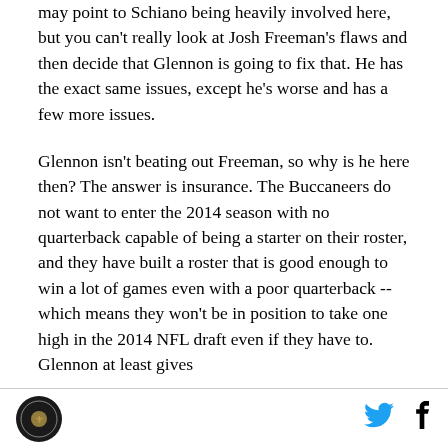may point to Schiano being heavily involved here, but you can't really look at Josh Freeman's flaws and then decide that Glennon is going to fix that. He has the exact same issues, except he's worse and has a few more issues.
Glennon isn't beating out Freeman, so why is he here then? The answer is insurance. The Buccaneers do not want to enter the 2014 season with no quarterback capable of being a starter on their roster, and they have built a roster that is good enough to win a lot of games even with a poor quarterback -- which means they won't be in position to take one high in the 2014 NFL draft even if they have to. Glennon at least gives
[logo] [twitter] [facebook]